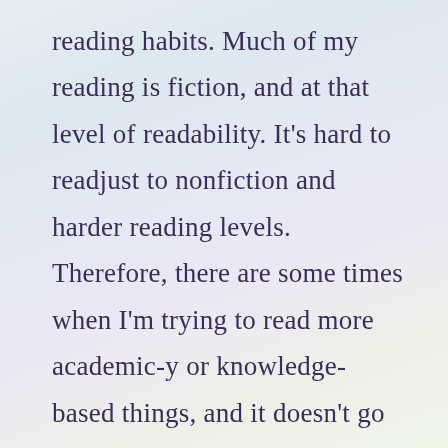reading habits. Much of my reading is fiction, and at that level of readability. It's hard to readjust to nonfiction and harder reading levels. Therefore, there are some times when I'm trying to read more academic-y or knowledge-based things, and it doesn't go as quickly in terms of comprehension, but my fingers get into reading autopilot. And I hardly even notice sometimes… It's a bit bad.

So, there you go! Three hazards of